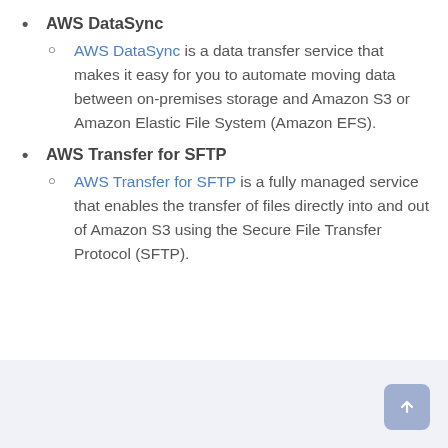AWS DataSync
AWS DataSync is a data transfer service that makes it easy for you to automate moving data between on-premises storage and Amazon S3 or Amazon Elastic File System (Amazon EFS).
AWS Transfer for SFTP
AWS Transfer for SFTP is a fully managed service that enables the transfer of files directly into and out of Amazon S3 using the Secure File Transfer Protocol (SFTP).